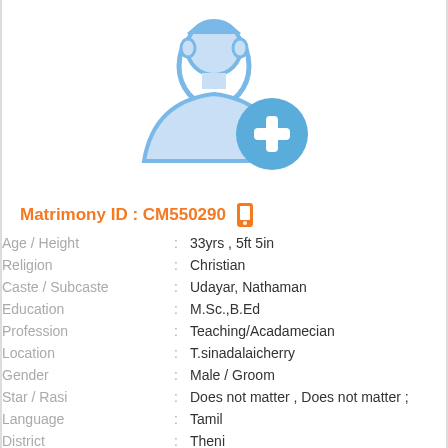[Figure (illustration): Profile avatar placeholder: blue outline silhouette of a person with a blue circle containing a white plus sign in the lower right]
Matrimony ID : CM550290
| Field | : | Value |
| --- | --- | --- |
| Age / Height | : | 33yrs , 5ft 5in |
| Religion | : | Christian |
| Caste / Subcaste | : | Udayar, Nathaman |
| Education | : | M.Sc.,B.Ed |
| Profession | : | Teaching/Acadamecian |
| Location | : | T.sinadalaicherry |
| Gender | : | Male / Groom |
| Star / Rasi | : | Does not matter , Does not matter ; |
| Language | : | Tamil |
| District | : | Theni |
| State | : | Tamil Nadu |
| Country | : | India |